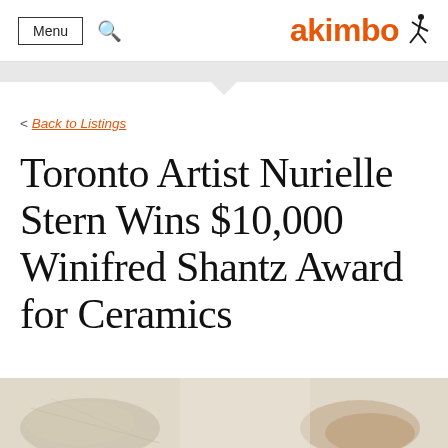Menu | akimbo
< Back to Listings
Toronto Artist Nurielle Stern Wins $10,000 Winifred Shantz Award for Ceramics
[Figure (photo): Partial view of ceramic artworks on a white background, bottom of page]